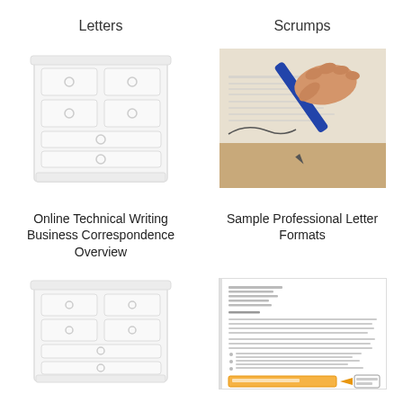Letters
Scrumps
[Figure (illustration): Illustration of a white chest of drawers / filing cabinet]
[Figure (photo): Photo of a hand holding a blue pen signing or writing on a document/letter]
Online Technical Writing Business Correspondence Overview
Sample Professional Letter Formats
[Figure (illustration): Illustration of a white chest of drawers / filing cabinet]
[Figure (screenshot): Screenshot of a professional business letter sample with text and a highlighted section at the bottom labeled 'Matter Form Format']